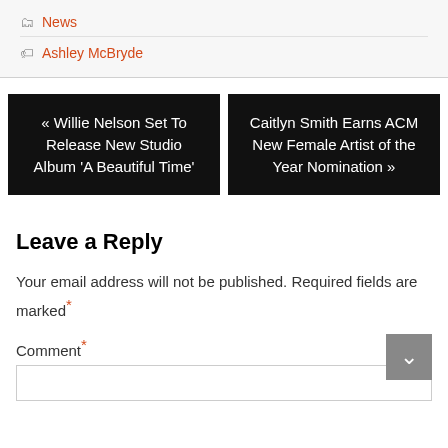News
Ashley McBryde
« Willie Nelson Set To Release New Studio Album 'A Beautiful Time'
Caitlyn Smith Earns ACM New Female Artist of the Year Nomination »
Leave a Reply
Your email address will not be published. Required fields are marked *
Comment *